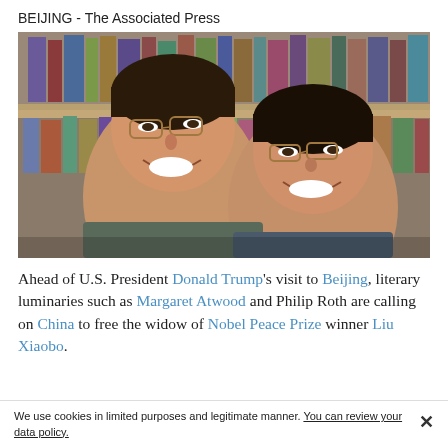BEIJING - The Associated Press
[Figure (photo): Two smiling people of East Asian appearance posing closely together in front of a bookshelf. The person on the left wears glasses and has very short hair; the person on the right also wears glasses and has short hair. The photo appears to be of Liu Xia and Liu Xiaobo.]
Ahead of U.S. President Donald Trump's visit to Beijing, literary luminaries such as Margaret Atwood and Philip Roth are calling on China to free the widow of Nobel Peace Prize winner Liu Xiaobo.
We use cookies in limited purposes and legitimate manner. You can review your data policy.